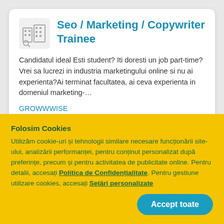Seo / Marketing / Copywriter Trainee
Candidatul ideal Esti student? Iti doresti un job part-time? Vrei sa lucrezi in industria marketingului online si nu ai experienta?Ai terminat facultatea, ai ceva experienta in domeniul marketing-…
GROWWWISE
Remote
Actualizat la 04.08.2022
Folosim Cookies
Utilizăm cookie-uri și tehnologii similare necesare funcționării site-ului, analizării performanței, pentru conținut personalizat după preferințe, precum și pentru activitatea de publicitate online. Pentru detalii, accesați Politica de Confidențialitate. Pentru gestiune utilizare cookies, accesați Setări personalizate
Accept toate